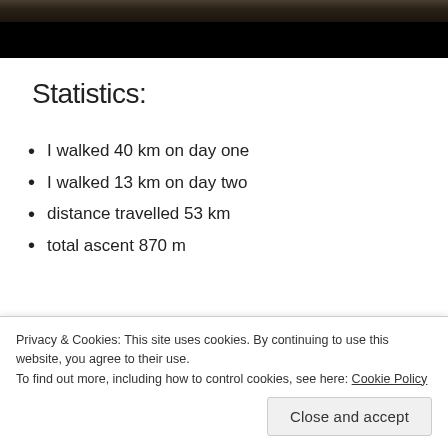[Figure (photo): Photograph of forest ground with leaves and dark overlay/black bar at bottom]
Statistics:
I walked 40 km on day one
I walked 13 km on day two
distance travelled 53 km
total ascent 870 m
Privacy & Cookies: This site uses cookies. By continuing to use this website, you agree to their use.
To find out more, including how to control cookies, see here: Cookie Policy
Close and accept